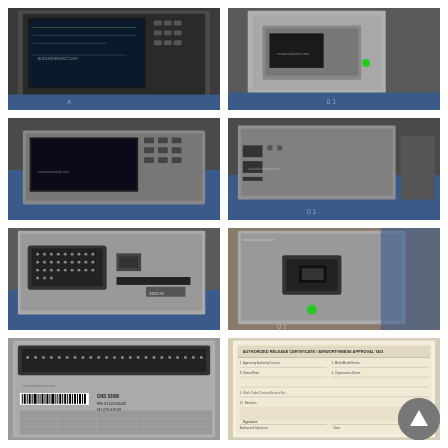[Figure (photo): Aviation GPS/navigation unit with display screen showing interface, viewed from front, watermarked autoaviationd.com]
[Figure (photo): Aviation electronics unit in metallic enclosure with green indicator light, in packaging, watermarked autoaviationd.com]
[Figure (photo): Aviation electronics box side/front view showing control panel buttons, watermarked autoaviationd.com]
[Figure (photo): Aviation electronics unit showing side connector panel, watermarked autoaviationd.com]
[Figure (photo): Rear panel of aviation electronics unit showing D-sub connectors and labels, watermarked]
[Figure (photo): Aviation electronics unit bottom/side view showing green LED indicator, watermarked autoaviationd.com]
[Figure (photo): Close-up of rear label panel showing barcode and part numbers, watermarked autoaviationd.com]
[Figure (photo): Aviation equipment documentation/certification paper form with text and signature fields]